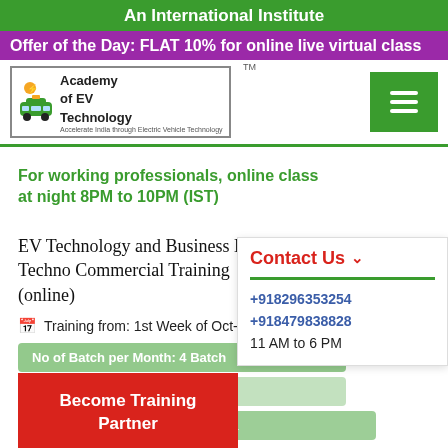An International Institute
Offer of the Day: FLAT 10% for online live virtual class
[Figure (logo): Academy of EV Technology logo with green car/charging icon]
For working professionals, online class at night 8PM to 10PM (IST)
EV Technology and Business Management - Techno Commercial Training (online)
Training from: 1st Week of Oct-2022 NEW
No of Batch per Month: 4 Batch
Total Seat: 10 Nos per Batch
Become Training Partner
Seat Available: 10 Seats for Batch 1
Contact Us
+918296353254
+918479838828
11 AM to 6 PM